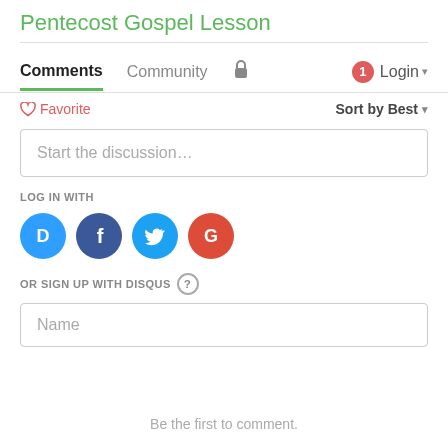Pentecost Gospel Lesson
Comments   Community   🔒   1   Login
♡ Favorite   Sort by Best
Start the discussion…
LOG IN WITH
[Figure (infographic): Social login icons: Disqus (blue), Facebook (dark blue), Twitter (light blue), Google (red)]
OR SIGN UP WITH DISQUS ?
Name
Be the first to comment.